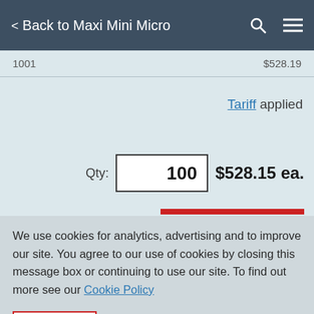< Back to Maxi Mini Micro
1001   $528.19
Tariff applied
Qty: 100   $528.15 ea.
We use cookies for analytics, advertising and to improve our site. You agree to our use of cookies by closing this message box or continuing to use our site. To find out more see our Cookie Policy
ACCEPT